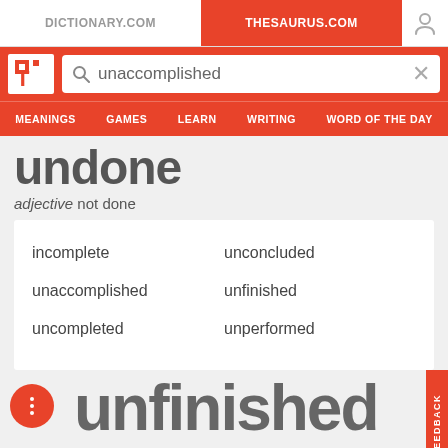DICTIONARY.COM | THESAURUS.COM
[Figure (screenshot): Thesaurus.com website header with logo, search bar showing 'unaccomplished', and navigation menu with MEANINGS, GAMES, LEARN, WRITING, WORD OF THE DAY]
undone
adjective not done
| incomplete | unconcluded |
| unaccomplished | unfinished |
| uncompleted | unperformed |
unfinished